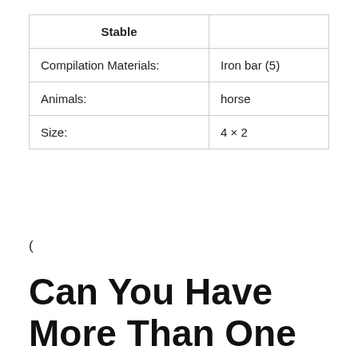| Stable |  |
| --- | --- |
| Compilation Materials: | Iron bar (5) |
| Animals: | horse |
| Size: | 4 × 2 |
(
Can You Have More Than One Horse In Stardarew Valley?